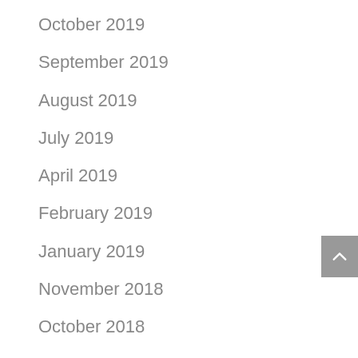October 2019
September 2019
August 2019
July 2019
April 2019
February 2019
January 2019
November 2018
October 2018